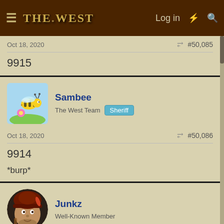The West — Log in
Oct 18, 2020   #50,085
9915
Sambee — The West Team — Sheriff
Oct 18, 2020  #50,086
9914
*burp*
Junkz — Well-Known Member
Oct 18, 2020  #50,087
9913